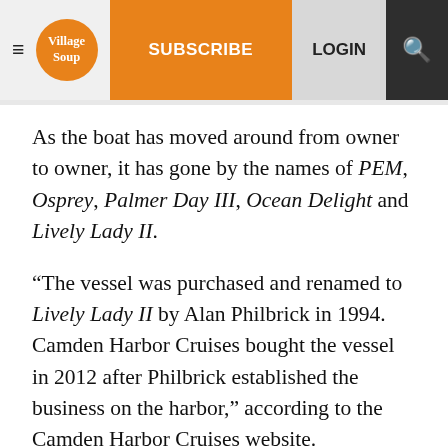Village Soup | SUBSCRIBE | LOGIN
As the boat has moved around from owner to owner, it has gone by the names of PEM, Osprey, Palmer Day III, Ocean Delight and Lively Lady II.
“The vessel was purchased and renamed to Lively Lady II by Alan Philbrick in 1994. Camden Harbor Cruises bought the vessel in 2012 after Philbrick established the business on the harbor,” according to the Camden Harbor Cruises website.